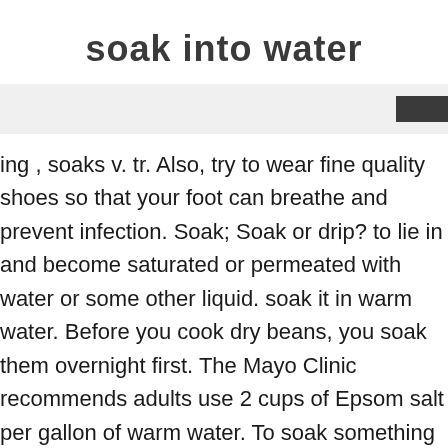soak into water
ing , soaks v. tr. Also, try to wear fine quality shoes so that your foot can breathe and prevent infection. Soak; Soak or drip? to lie in and become saturated or permeated with water or some other liquid. soak it in warm water. Before you cook dry beans, you soak them overnight first. The Mayo Clinic recommends adults use 2 cups of Epsom salt per gallon of warm water. To soak something is to submerge it into water. The benefits of a soak in Epsom salt-treated water have not been proven scientifically yet, but many people swear by this folk remedy.